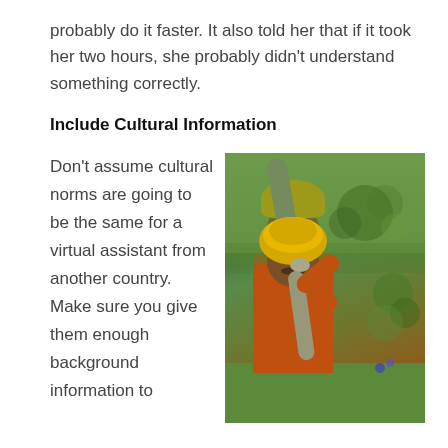probably do it faster. It also told her that if it took her two hours, she probably didn't understand something correctly.
Include Cultural Information
Don't assume cultural norms are going to be the same for a virtual assistant from another country. Make sure you give them enough background information to
[Figure (photo): A man wearing a yellow turban and orange shirt holding a large snake (cobra), standing in a garden with green plants in the background.]